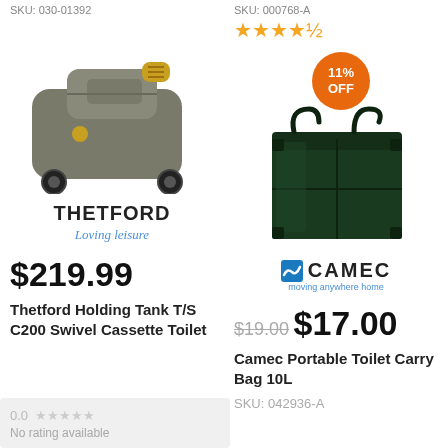SKU: 030-01392
SKU: 000768-A
★★★★✩
11% OFF
[Figure (photo): Thetford Holding Tank T/S C200 Swivel Cassette Toilet product photo]
[Figure (logo): Thetford Loving leisure brand logo]
[Figure (photo): Camec Portable Toilet Carry Bag 10L product photo - dark green bag]
[Figure (logo): Camec brand logo with wave icon and tagline]
$219.99
$19.00 $17.00
Thetford Holding Tank T/S C200 Swivel Cassette Toilet
Camec Portable Toilet Carry Bag 10L
SKU: 042936-A
0.0 ★★★★★
No rating available